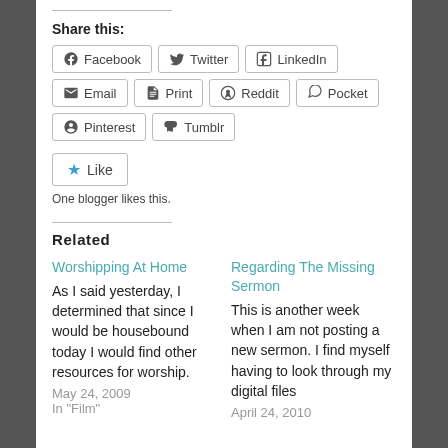Share this:
Facebook Twitter LinkedIn Email Print Reddit Pocket Pinterest Tumblr
★ Like
One blogger likes this.
Related
Worshipping At Home
As I said yesterday, I determined that since I would be housebound today I would find other resources for worship.
May 24, 2009
In "Film"
Regarding The Missing Sermon
This is another week when I am not posting a new sermon. I find myself having to look through my digital files
April 24, 2010